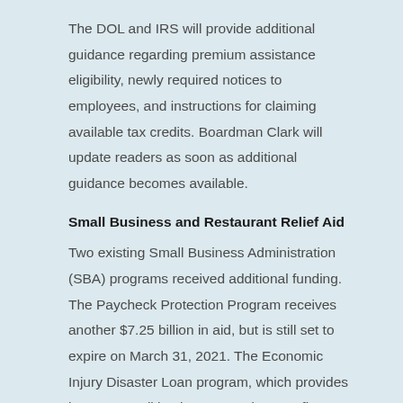The DOL and IRS will provide additional guidance regarding premium assistance eligibility, newly required notices to employees, and instructions for claiming available tax credits. Boardman Clark will update readers as soon as additional guidance becomes available.
Small Business and Restaurant Relief Aid
Two existing Small Business Administration (SBA) programs received additional funding. The Paycheck Protection Program receives another $7.25 billion in aid, but is still set to expire on March 31, 2021. The Economic Injury Disaster Loan program, which provides loans to small businesses and nonprofit organizations that have suffered substantial economic injury...